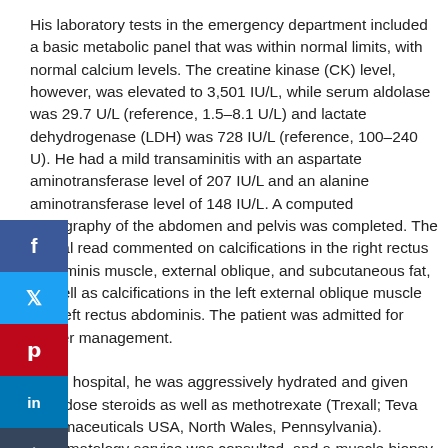His laboratory tests in the emergency department included a basic metabolic panel that was within normal limits, with normal calcium levels. The creatine kinase (CK) level, however, was elevated to 3,501 IU/L, while serum aldolase was 29.7 U/L (reference, 1.5–8.1 U/L) and lactate dehydrogenase (LDH) was 728 IU/L (reference, 100–240 U). He had a mild transaminitis with an aspartate aminotransferase level of 207 IU/L and an alanine aminotransferase level of 148 IU/L. A computed tomography of the abdomen and pelvis was completed. The official read commented on calcifications in the right rectus abdominis muscle, external oblique, and subcutaneous fat, as well as calcifications in the left external oblique muscle and left rectus abdominis. The patient was admitted for further management. In the hospital, he was aggressively hydrated and given high-dose steroids as well as methotrexate (Trexall; Teva Pharmaceuticals USA, North Wales, Pennsylvania). Rheumatology service was consulted, and a muscle biopsy confirmed the diagnosis of dermatomyositis with calcinosis cutis. The patient was then given azathioprine (Imuran; Prometheus Laboratories Inc, San Diego, California) and he showed continual improvement throughout his hospital course. His CK levels improved with hydration, and he received intensive physical therapy throughout his hospitalization. At hospital discharge, the patient had 4/5 strength globally and was able to sit in a chair unassisted. He